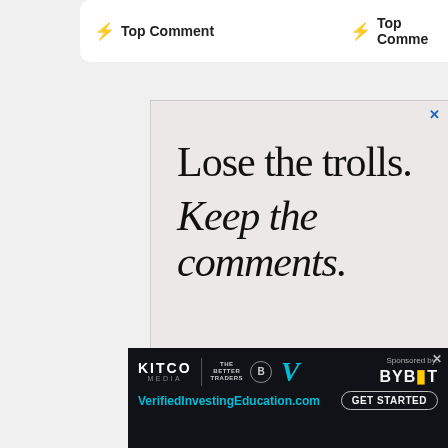[Figure (screenshot): Partial UI showing two 'Top Comment' cards at the top of the page, with a lightning bolt icon and like count of 10 visible on the left card.]
[Figure (screenshot): Advertisement with pale pink/beige background displaying large text: 'Lose the trolls. Keep the comments.' with a close (X) button in blue at top right.]
[Figure (screenshot): Sponsor banner at bottom showing Kitco Media, The Better Traders, Voyager logo, 'Sponsored by: BYBIT' and VerifiedInvestingEducation.com with GET STARTED button.]